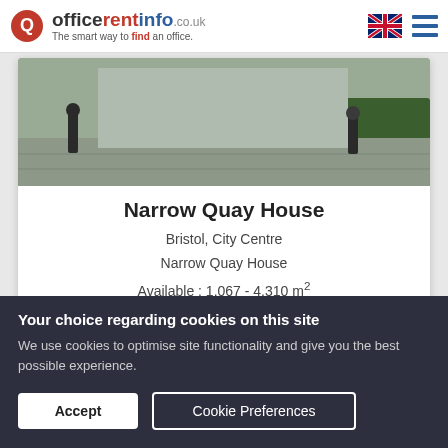officerentinfo.co.uk – The smart way to find an office.
[Figure (photo): Outdoor scene with pedestrians walking on a paved area near a building, with hedges in the background.]
Narrow Quay House
Bristol, City Centre
Narrow Quay House
Available : 1.067 - 4.310 m²
Your choice regarding cookies on this site
We use cookies to optimise site functionality and give you the best possible experience.
Accept
Cookie Preferences